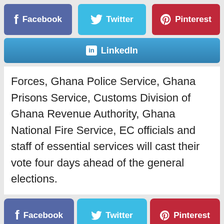[Figure (screenshot): Social share buttons: Facebook (blue-purple), Twitter (blue), Pinterest (red) in a row]
[Figure (screenshot): LinkedIn share button (blue gradient) spanning full width]
Forces, Ghana Police Service, Ghana Prisons Service, Customs Division of Ghana Revenue Authority, Ghana National Fire Service, EC officials and staff of essential services will cast their vote four days ahead of the general elections.
[Figure (screenshot): Social share buttons: Facebook (blue-purple), Twitter (blue), Pinterest (red) in a row]
[Figure (screenshot): LinkedIn share button (blue gradient) spanning full width]